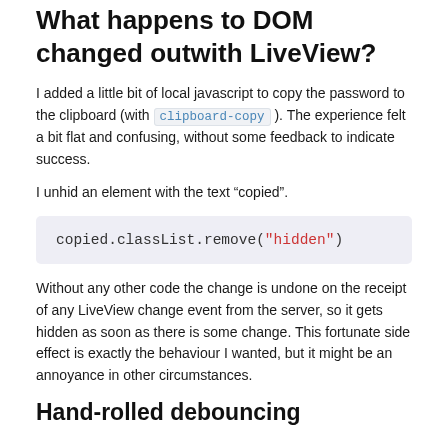What happens to DOM changed outwith LiveView?
I added a little bit of local javascript to copy the password to the clipboard (with clipboard-copy ). The experience felt a bit flat and confusing, without some feedback to indicate success.
I unhid an element with the text “copied”.
[Figure (screenshot): Code block showing: copied.classList.remove("hidden")]
Without any other code the change is undone on the receipt of any LiveView change event from the server, so it gets hidden as soon as there is some change. This fortunate side effect is exactly the behaviour I wanted, but it might be an annoyance in other circumstances.
Hand-rolled debouncing